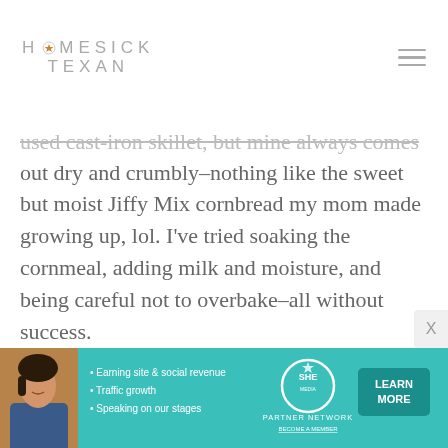HOMESICK TEXAN
used cast-iron skillet, but mine always comes out dry and crumbly–nothing like the sweet but moist Jiffy Mix cornbread my mom made growing up, lol. I've tried soaking the cornmeal, adding milk and moisture, and being careful not to overbake–all without success.
I want to try this out, and hope to be able to share this with him sometime soon, (he and my mom have been isolated in their home with my brother who's seen them only
[Figure (infographic): SHE Partner Network advertisement banner with teal background, photo of woman, bullet points about earning site & social revenue, traffic growth, speaking on stages, SHE logo, and LEARN MORE button]